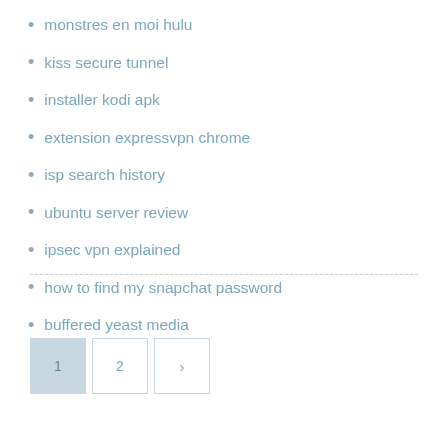monstres en moi hulu
kiss secure tunnel
installer kodi apk
extension expressvpn chrome
isp search history
ubuntu server review
ipsec vpn explained
how to find my snapchat password
buffered yeast media
Pagination: 1, 2, >